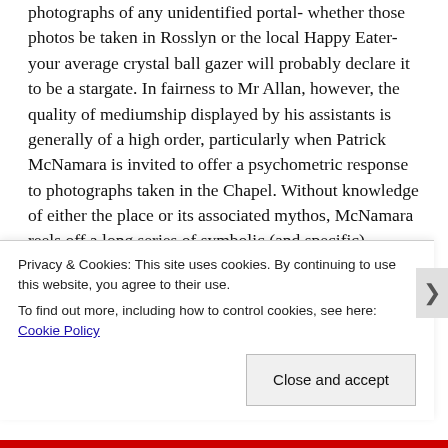photographs of any unidentified portal- whether those photos be taken in Rosslyn or the local Happy Eater- your average crystal ball gazer will probably declare it to be a stargate. In fairness to Mr Allan, however, the quality of mediumship displayed by his assistants is generally of a high order, particularly when Patrick McNamara is invited to offer a psychometric response to photographs taken in the Chapel. Without knowledge of either the place or its associated mythos, McNamara reels off a long series of symbolic (and specific) correspondences whose effect is rather creepy.
The dimensional doorway, whatever its exact purpose, appears to react to the pulsating frequencies- almost as if
Privacy & Cookies: This site uses cookies. By continuing to use this website, you agree to their use. To find out more, including how to control cookies, see here: Cookie Policy
Close and accept